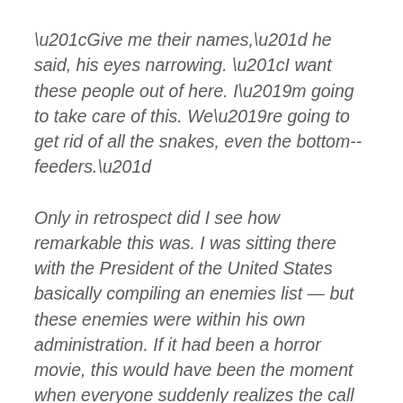“Give me their names,” he said, his eyes narrowing. “I want these people out of here. I’m going to take care of this. We’re going to get rid of all the snakes, even the bottom--feeders.”
Only in retrospect did I see how remarkable this was. I was sitting there with the President of the United States basically compiling an enemies list — but these enemies were within his own administration. If it had been a horror movie, this would have been the moment when everyone suddenly realizes the call is coming from inside the house.
The President proceeded to name White